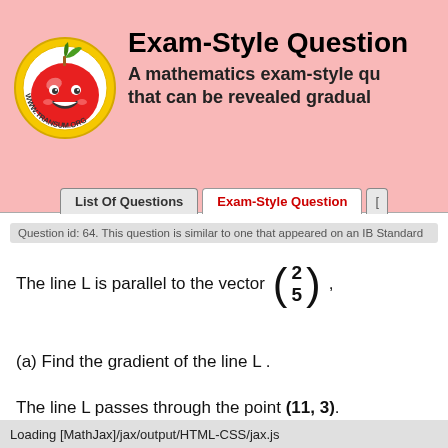[Figure (logo): Transum apple logo with smiley face and www.transum.org text on yellow circle]
Exam-Style Question
A mathematics exam-style question that can be revealed gradually
List Of Questions | Exam-Style Question
Question id: 64. This question is similar to one that appeared on an IB Standard
(a) Find the gradient of the line L .
The line L passes through the point (11, 3).
Loading [MathJax]/jax/output/HTML-CSS/jax.js